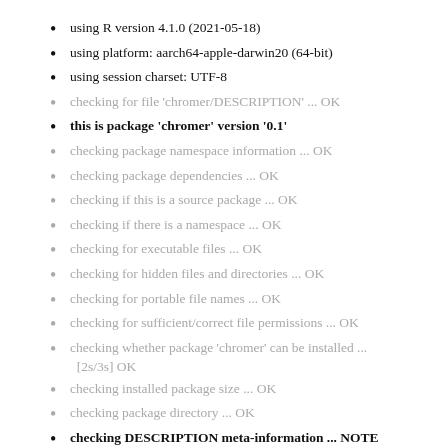using R version 4.1.0 (2021-05-18)
using platform: aarch64-apple-darwin20 (64-bit)
using session charset: UTF-8
checking for file ‘chromer/DESCRIPTION’ ... OK
this is package ‘chromer’ version ‘0.1’
checking package namespace information ... OK
checking package dependencies ... OK
checking if this is a source package ... OK
checking if there is a namespace ... OK
checking for executable files ... OK
checking for hidden files and directories ... OK
checking for portable file names ... OK
checking for sufficient/correct file permissions ... OK
checking whether package ‘chromer’ can be installed ... [2s/3s] OK
checking installed package size ... OK
checking package directory ... OK
checking DESCRIPTION meta-information ... NOTE
Malformed Description field: should contain one or more complete sentences.
checking top-level files ... OK
checking for left-over files ... OK
checking index information ... OK
checking package subdirectories ... OK